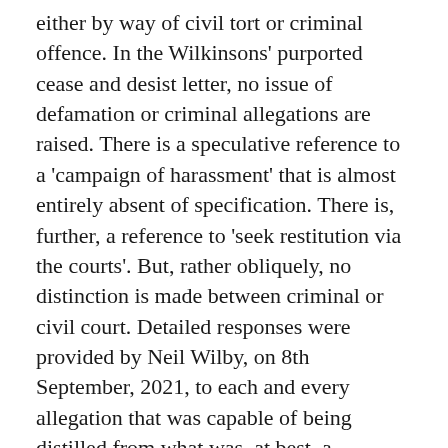either by way of civil tort or criminal offence. In the Wilkinsons' purported cease and desist letter, no issue of defamation or criminal allegations are raised. There is a speculative reference to a 'campaign of harassment' that is almost entirely absent of specification. There is, further, a reference to 'seek restitution via the courts'. But, rather obliquely, no distinction is made between criminal or civil court. Detailed responses were provided by Neil Wilby, on 8th September, 2021, to each and every allegation that was capable of being distilled from what was, at best, a muddled composition. They remain, for now, privileged until the matter is compromised, or until after a final hearing if the matter proceeds that far. Mr McGuinness was, however, taken to a highly relevant and very recent legal authority and it was pointed out to him that, as an experienced litigator, he would know that